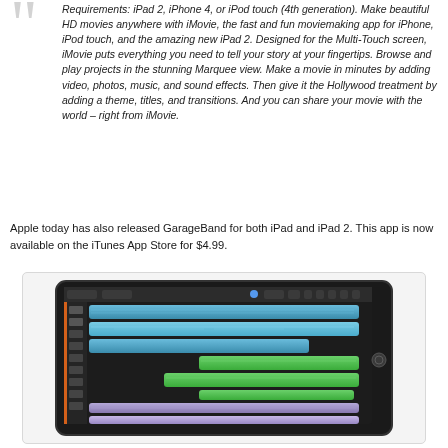Requirements: iPad 2, iPhone 4, or iPod touch (4th generation). Make beautiful HD movies anywhere with iMovie, the fast and fun moviemaking app for iPhone, iPod touch, and the amazing new iPad 2. Designed for the Multi-Touch screen, iMovie puts everything you need to tell your story at your fingertips. Browse and play projects in the stunning Marquee view. Make a movie in minutes by adding video, photos, music, and sound effects. Then give it the Hollywood treatment by adding a theme, titles, and transitions. And you can share your movie with the world – right from iMovie.
Apple today has also released GarageBand for both iPad and iPad 2. This app is now available on the iTunes App Store for $4.99.
[Figure (screenshot): Screenshot of GarageBand app running on an iPad showing multiple colored audio tracks (blue, green, purple) in the track editor interface.]